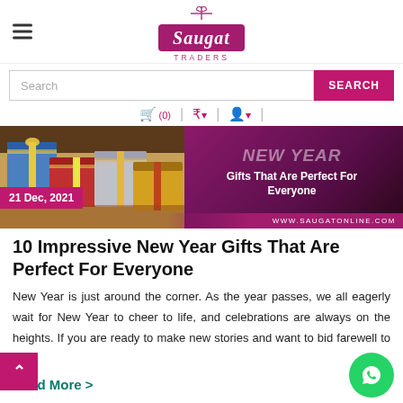Saugat Traders
Search
[Figure (screenshot): Hero banner showing gift boxes on the left and text 'Gifts That Are Perfect For Everyone' with date badge '21 Dec, 2021' and URL 'www.saugatonline.com']
10 Impressive New Year Gifts That Are Perfect For Everyone
New Year is just around the corner. As the year passes, we all eagerly wait for New Year to cheer to life, and celebrations are always on the heights. If you are ready to make new stories and want to bid farewell to t
Read More >